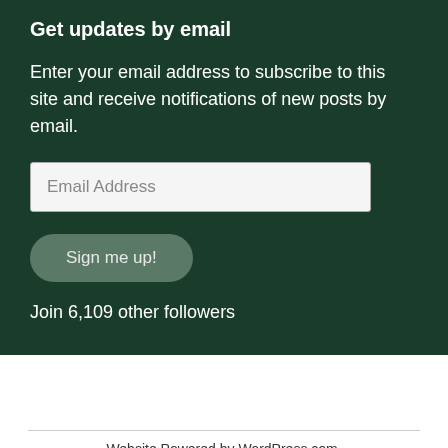Get updates by email
Enter your email address to subscribe to this site and receive notifications of new posts by email.
Email Address
Sign me up!
Join 6,109 other followers
Website Powered by WordPress.com.